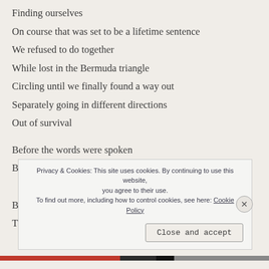Finding ourselves
On course that was set to be a lifetime sentence
We refused to do together
While lost in the Bermuda triangle
Circling until we finally found a way out
Separately going in different directions
Out of survival
Before the words were spoken
Before the actions were made
B
T
Privacy & Cookies: This site uses cookies. By continuing to use this website, you agree to their use. To find out more, including how to control cookies, see here: Cookie Policy
Close and accept